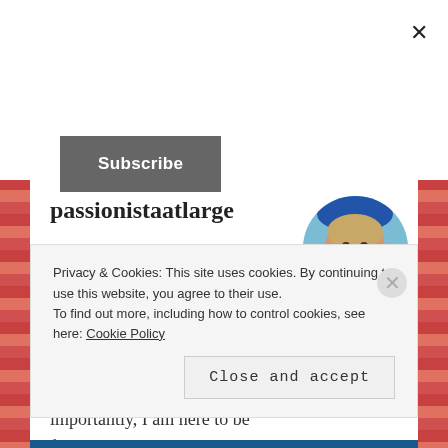×
Subscribe
passionistaatlarge
These are my stories—my life. I try to write honestly, raw, and from my heart. I try to tell all the parts—the good, the hard, the tough, the hopeful, and the emotional. But most importantly, I am here to be found by you. I am open-
[Figure (photo): Circular profile photo of a smiling middle-aged woman with short blonde hair]
Privacy & Cookies: This site uses cookies. By continuing to use this website, you agree to their use.
To find out more, including how to control cookies, see here: Cookie Policy
Close and accept